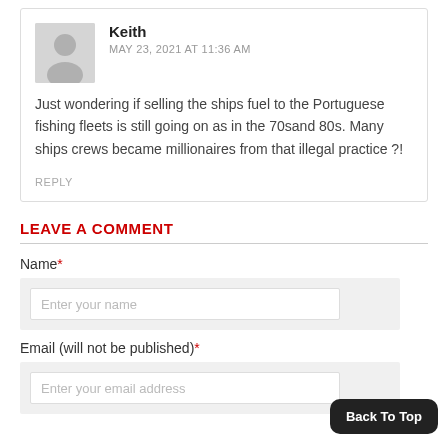Keith — MAY 23, 2021 AT 11:36 AM — Just wondering if selling the ships fuel to the Portuguese fishing fleets is still going on as in the 70sand 80s. Many ships crews became millionaires from that illegal practice ?!
REPLY
LEAVE A COMMENT
Name*
Enter your name
Email (will not be published)*
Enter your email address
Back To Top